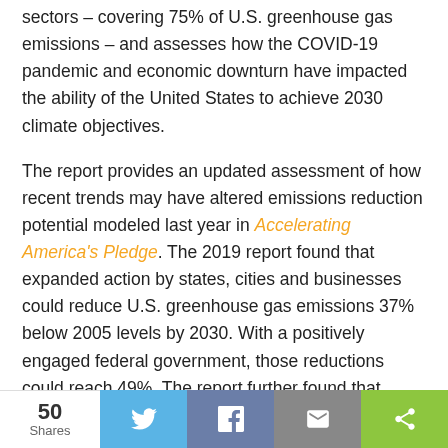sectors – covering 75% of U.S. greenhouse gas emissions – and assesses how the COVID-19 pandemic and economic downturn have impacted the ability of the United States to achieve 2030 climate objectives.
The report provides an updated assessment of how recent trends may have altered emissions reduction potential modeled last year in Accelerating America's Pledge. The 2019 report found that expanded action by states, cities and businesses could reduce U.S. greenhouse gas emissions 37% below 2005 levels by 2030. With a positively engaged federal government, those reductions could reach 49%. The report further found that achieving this ambitious level of emissions reduction would require accelerated market transformation and significant social and political mobilization around climate action.
50 Shares | Twitter | Facebook | Email | Share